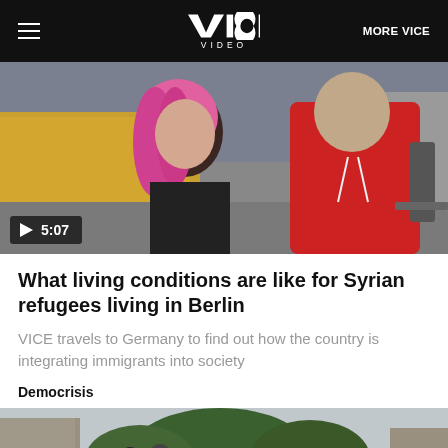VICE VIDEO | MORE VICE
[Figure (photo): Video thumbnail showing a young woman with pink/red hair and a man in a red hoodie walking on a street. Play button overlay showing 5:07 duration.]
What living conditions are like for Syrian refugees living in Berlin
VICE travels to Germany to find out how the country is integrating immigrants into society
Democrisis
[Figure (photo): Video thumbnail showing people on a rooftop or elevated area with trees and buildings in the background.]